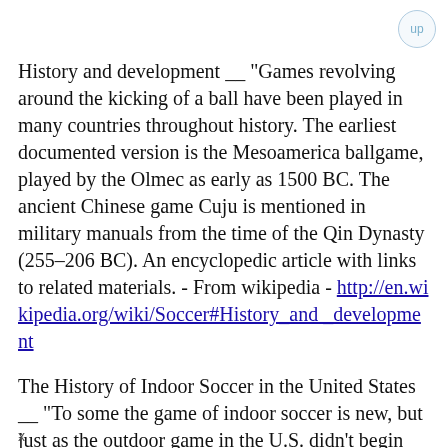History and development __ "Games revolving around the kicking of a ball have been played in many countries throughout history. The earliest documented version is the Mesoamerica ballgame, played by the Olmec as early as 1500 BC. The ancient Chinese game Cuju is mentioned in military manuals from the time of the Qin Dynasty (255–206 BC).  An encyclopedic article with links to related materials. - From wikipedia - http://en.wikipedia.org/wiki/Soccer#History_and_development
The History of Indoor Soccer in the United States __ "To some the game of indoor soccer is new, but just as the outdoor game in the U.S. didn't begin with Pele, the indoor game wasn't born when the Major Indoor Soccer League came into being. Incredible though it may seem
x